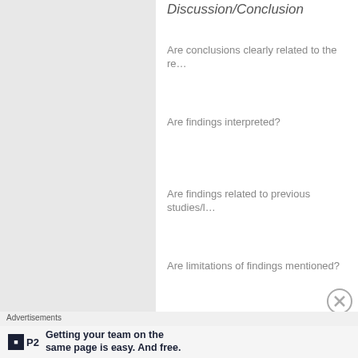Discussion/Conclusion
Are conclusions clearly related to the re…
Are findings interpreted?
Are findings related to previous studies/l…
Are limitations of findings mentioned?
Are conclusions clearly related to finding…
Are the findings generalisable?
This is by no means an exhaustive list o… help you on your way. Good luck with yo…
Advertisements
Getting your team on the same page is easy. And free.